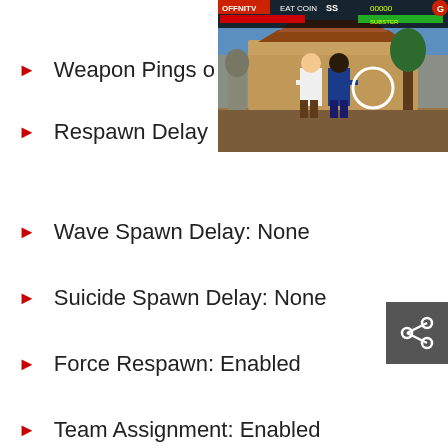Weapon Pings o
[Figure (screenshot): Video game screenshot showing fighting game with two characters, HUD with health bars and score]
Respawn Delay
Wave Spawn Delay: None
Suicide Spawn Delay: None
Force Respawn: Enabled
Team Assignment: Enabled
Friendly Fire: Enabled
Team Kill Punish Limit: Disabled